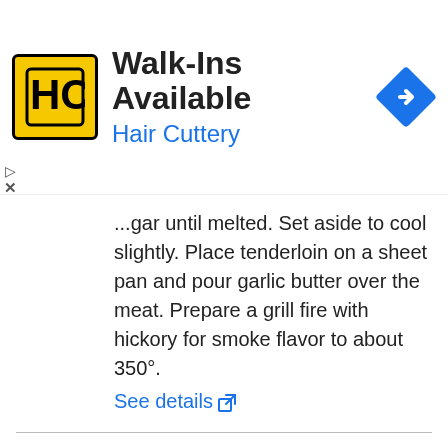[Figure (infographic): Advertisement banner for Hair Cuttery with logo, 'Walk-Ins Available' text, and navigation icon]
...gar until melted. Set aside to cool slightly. Place tenderloin on a sheet pan and pour garlic butter over the meat. Prepare a grill fire with hickory for smoke flavor to about 350°.
See details
EASY GRILLED BEEF TENDERLOIN RECIPE- SIMPLE INGREDIENTS & 30 ...
From gogogogourmet.com
2018-02-13 · Instructions. Combine all ingredients in a spice grinder. Pulse/grind until the peppercorns are coarsely ground. Rub the tenderloin thoroughly with the spice mixture. Preheat a grill on high heat and oil the grates. Once the grill is preheated reduce the heat to medium, add the beef to the